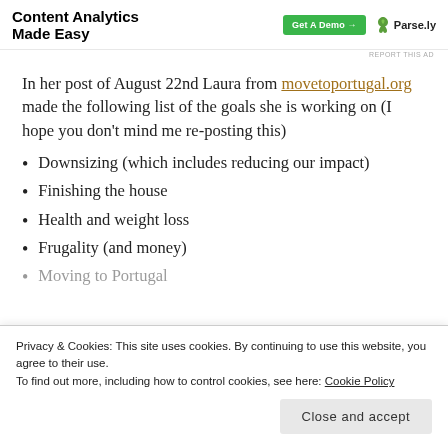[Figure (other): Ad banner: 'Content Analytics Made Easy' with green 'Get A Demo →' button and Parse.ly logo with leaf icon]
In her post of August 22nd Laura from movetoportugal.org made the following list of the goals she is working on (I hope you don't mind me re-posting this)
Downsizing (which includes reducing our impact)
Finishing the house
Health and weight loss
Frugality (and money)
Moving to Portugal
Privacy & Cookies: This site uses cookies. By continuing to use this website, you agree to their use. To find out more, including how to control cookies, see here: Cookie Policy
Close and accept